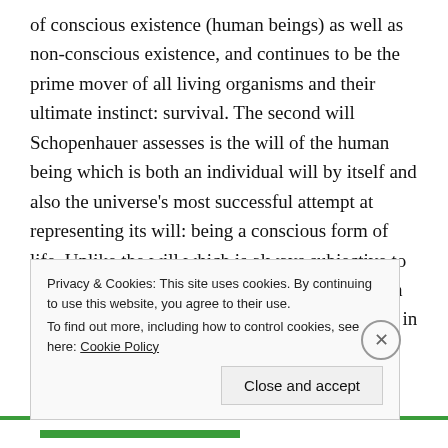of conscious existence (human beings) as well as non-conscious existence, and continues to be the prime mover of all living organisms and their ultimate instinct: survival. The second will Schopenhauer assesses is the will of the human being which is both an individual will by itself and also the universe's most successful attempt at representing its will: being a conscious form of life. Unlike the will which is always subjective to the universe and/or the individual, representation can be objective as well as subjective; Objective in being an object existing by itself (though still in representation of the will) and independent from conception, and subjective when
Privacy & Cookies: This site uses cookies. By continuing to use this website, you agree to their use.
To find out more, including how to control cookies, see here: Cookie Policy
Close and accept